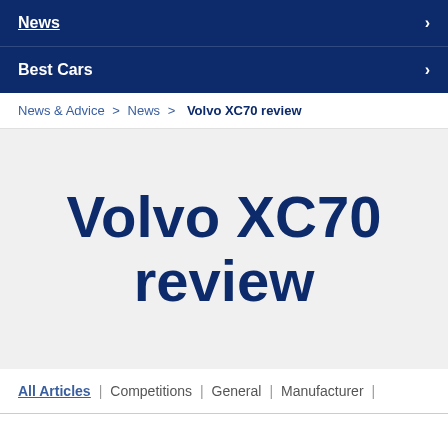News
Best Cars
News & Advice > News > Volvo XC70 review
Volvo XC70 review
All Articles | Competitions | General | Manufacturer |